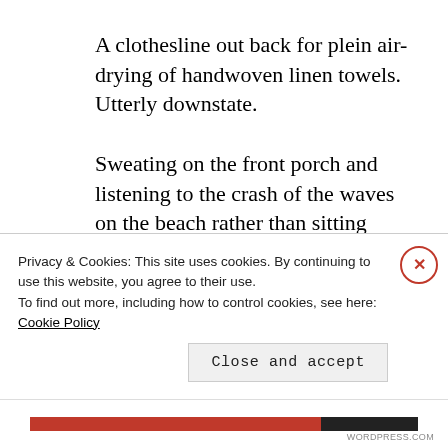A clothesline out back for plein air-drying of handwoven linen towels. Utterly downstate.
Sweating on the front porch and listening to the crash of the waves on the beach rather than sitting indoors with air conditioning? Fabulously downstate.
Not only did Miss April get it, she
Privacy & Cookies: This site uses cookies. By continuing to use this website, you agree to their use.
To find out more, including how to control cookies, see here: Cookie Policy
Close and accept